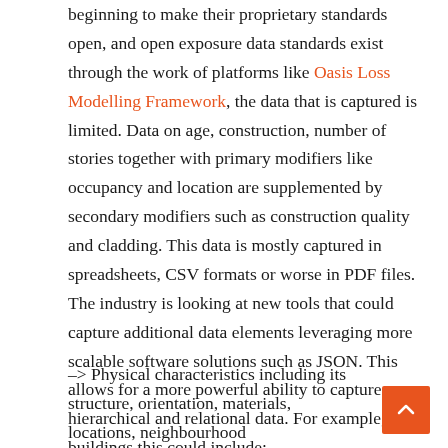beginning to make their proprietary standards open, and open exposure data standards exist through the work of platforms like Oasis Loss Modelling Framework, the data that is captured is limited. Data on age, construction, number of stories together with primary modifiers like occupancy and location are supplemented by secondary modifiers such as construction quality and cladding. This data is mostly captured in spreadsheets, CSV formats or worse in PDF files. The industry is looking at new tools that could capture additional data elements leveraging more scalable software solutions such as JSON. This allows for a more powerful ability to capture hierarchical and relational data. For example, for buildings this could include:
-> Physical characteristics including its structure, orientation, materials, locations, neighbourhood